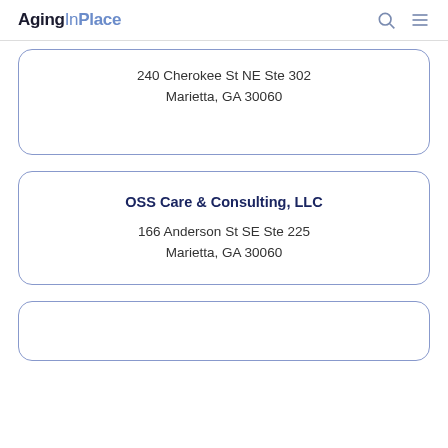AgingInPlace
240 Cherokee St NE Ste 302
Marietta, GA 30060
OSS Care & Consulting, LLC
166 Anderson St SE Ste 225
Marietta, GA 30060